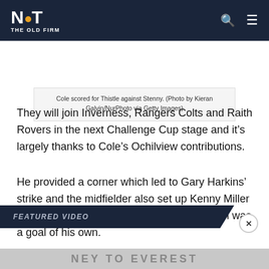NOT THE OLD FIRM
Cole scored for Thistle against Stenny. (Photo by Kieran Galvin/NurPhoto via Getty Images)
They will join Inverness, Rangers Colts and Raith Rovers in the next Challenge Cup stage and it’s largely thanks to Cole’s Ochilview contributions.
He provided a corner which led to Gary Harkins’ strike and the midfielder also set up Kenny Miller for the Jags’ fourth. His best moment though was a goal of his own.
FEATURED VIDEO